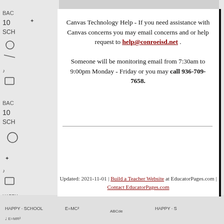Canvas Technology Help - If you need assistance with Canvas concerns you may email concerns and or help request to help@conroeisd.net . Someone will be monitoring email from 7:30am to 9:00pm Monday - Friday or you may call 936-709-7658.
Updated: 2021-11-01 | Build a Teacher Website at EducatorPages.com | Contact EducatorPages.com